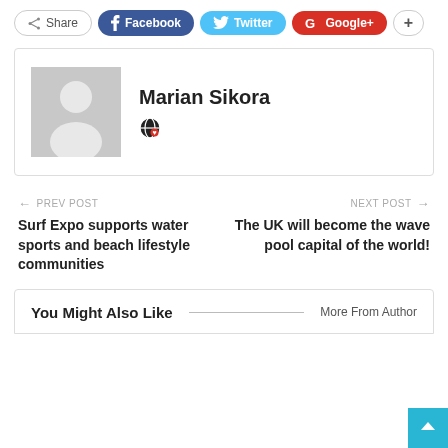[Figure (infographic): Social share bar with buttons: Share, Facebook, Twitter, Google+, and a plus button]
[Figure (infographic): Author card showing a placeholder avatar image and the name Marian Sikora with a globe/world icon]
← PREV POST
Surf Expo supports water sports and beach lifestyle communities
NEXT POST →
The UK will become the wave pool capital of the world!
You Might Also Like   ——   More From Author